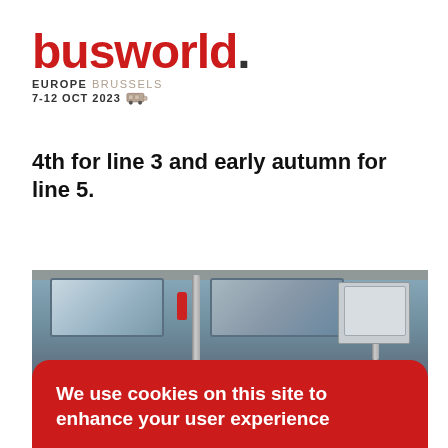[Figure (logo): Busworld Europe Brussels 7-12 OCT 2023 logo with red busworld. wordmark and small bus icon]
4th for line 3 and early autumn for line 5.
[Figure (photo): Interior of a bus showing windows, poles, ceiling panels and a fire extinguisher]
We use cookies on this site to enhance your user experience
By clicking the accept button, you agree to us doing so.